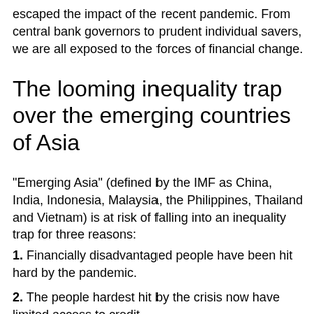escaped the impact of the recent pandemic. From central bank governors to prudent individual savers, we are all exposed to the forces of financial change.
The looming inequality trap over the emerging countries of Asia
“Emerging Asia” (defined by the IMF as China, India, Indonesia, Malaysia, the Philippines, Thailand and Vietnam) is at risk of falling into an inequality trap for three reasons:
1. Financially disadvantaged people have been hit hard by the pandemic.
2. The people hardest hit by the crisis now have limited access to credit.